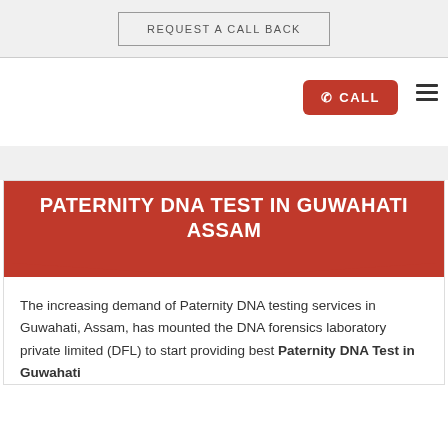REQUEST A CALL BACK
[Figure (other): Red CALL button with phone icon and hamburger menu icon in navigation area]
PATERNITY DNA TEST IN GUWAHATI ASSAM
The increasing demand of Paternity DNA testing services in Guwahati, Assam, has mounted the DNA forensics laboratory private limited (DFL) to start providing best Paternity DNA Test in Guwahati